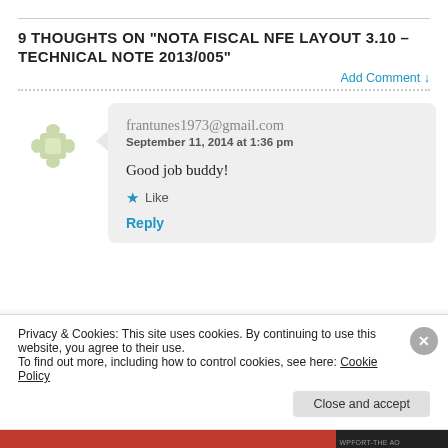9 THOUGHTS ON “NOTA FISCAL NFE LAYOUT 3.10 – TECHNICAL NOTE 2013/005”
Add Comment ↓
frantunes1973@gmail.com
September 11, 2014 at 1:36 pm

Good job buddy!

★ Like

Reply
Privacy & Cookies: This site uses cookies. By continuing to use this website, you agree to their use.
To find out more, including how to control cookies, see here: Cookie Policy
Close and accept